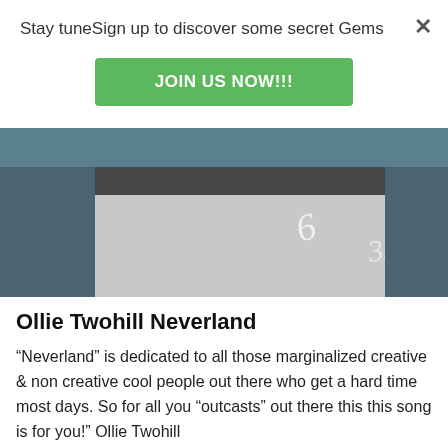Stay tuneSign up to discover some secret Gems
JOIN US NOW!!!
[Figure (photo): Black and white close-up photo of what appears to be a vinyl record or musical instrument surface with handwritten numbers/signatures]
Ollie Twohill Neverland
“Neverland” is dedicated to all those marginalized creative & non creative cool people out there who get a hard time most days. So for all you “outcasts” out there this this song is for you!” Ollie Twohill
by guestauthorlt1kf   August 12, 2022
[Figure (photo): Partial view of another article image at the bottom of the page, appears to show a yellow background with dark silhouette]